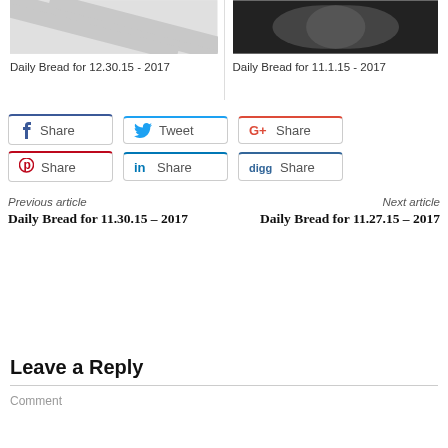[Figure (photo): Thumbnail image for Daily Bread for 12.30.15 - light gray diagonal pattern]
[Figure (photo): Thumbnail image for Daily Bread for 11.1.15 - black and white photo of person]
Daily Bread for 12.30.15 - 2017
Daily Bread for 11.1.15 - 2017
f Share
Tweet
G+ Share
Share
in Share
digg Share
Previous article
Daily Bread for 11.30.15 – 2017
Next article
Daily Bread for 11.27.15 – 2017
Leave a Reply
Comment